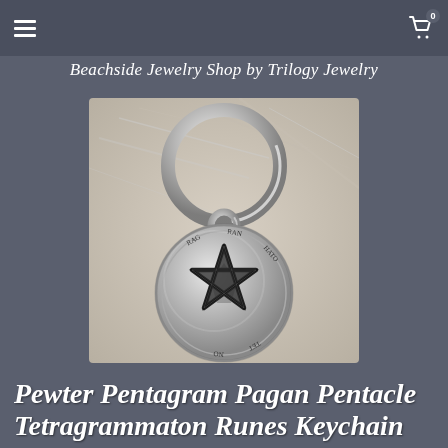Beachside Jewelry Shop by Trilogy Jewelry
[Figure (photo): A silver pewter pentagram keychain with a pentacle symbol and Tetragrammaton runes inscription around the edge, photographed on a light stone/sandy background. The keychain has a split ring at the top and the circular pendant features a five-pointed star with Hebrew/runic text around the circumference.]
Pewter Pentagram Pagan Pentacle Tetragrammaton Runes Keychain